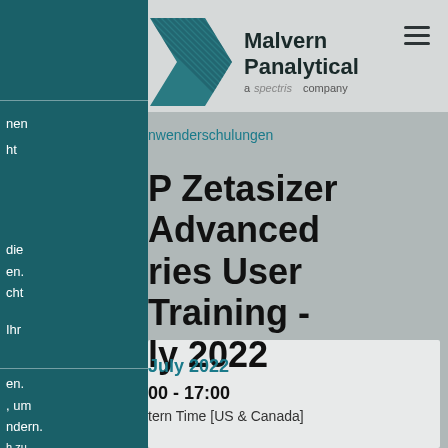[Figure (logo): Malvern Panalytical logo with diagonal striped chevron graphic and text 'Malvern Panalytical a spectris company']
nwenderschulungen
P Zetasizer Advanced ries User Training - ly 2022
July 2022
00 - 17:00
tern Time [US & Canada]